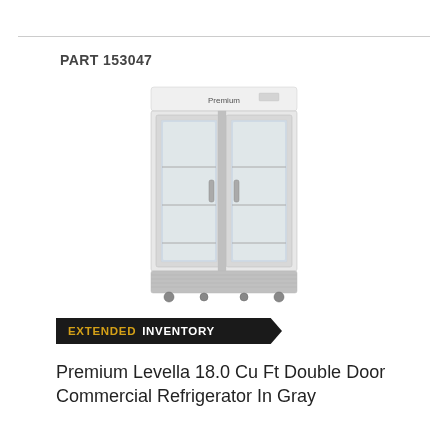PART 153047
[Figure (photo): Premium Levella double door commercial glass door refrigerator in gray/silver finish with two transparent glass doors showing interior shelving, white top panel with brand logo, and wheeled base.]
EXTENDED INVENTORY
Premium Levella 18.0 Cu Ft Double Door Commercial Refrigerator In Gray